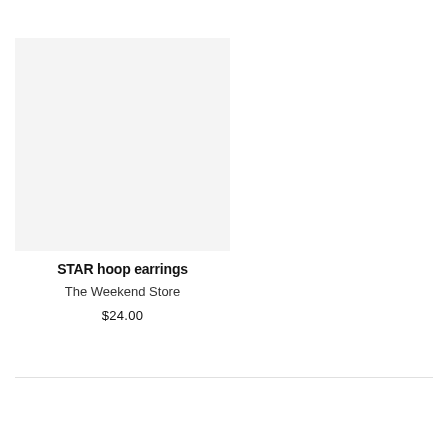[Figure (photo): Product image placeholder — light gray square representing STAR hoop earrings product photo]
STAR hoop earrings
The Weekend Store
$24.00